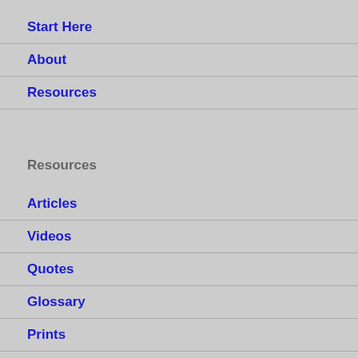Start Here
About
Resources
Resources
Articles
Videos
Quotes
Glossary
Prints